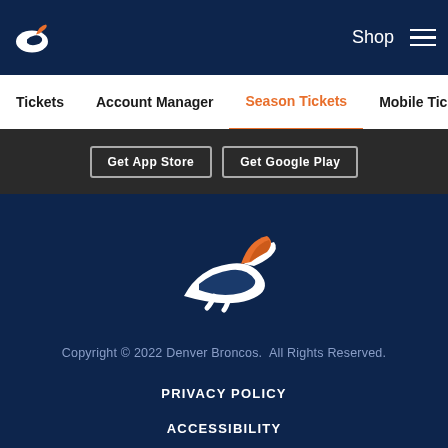Shop  ☰
Tickets  Account Manager  Season Tickets  Mobile Tickets  Pre...
[Figure (logo): Denver Broncos horse logo (large, centered in footer)]
Copyright © 2022 Denver Broncos.  All Rights Reserved.
PRIVACY POLICY
ACCESSIBILITY
CONTACT US
SITE MAP